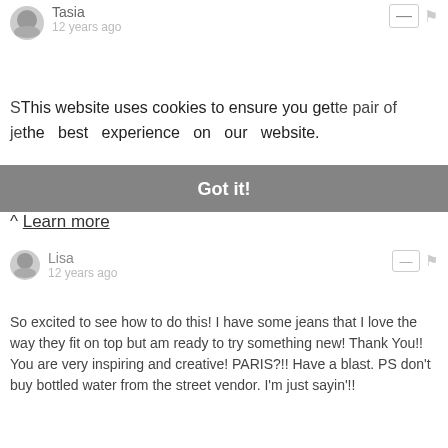Tasia
12 years ago
This website uses cookies to ensure you get the best experience on our website. Learn more
Got it!
Lisa
12 years ago
So excited to see how to do this! I have some jeans that I love the way they fit on top but am ready to try something new! Thank You!! You are very inspiring and creative! PARIS?!! Have a blast. PS don't buy bottled water from the street vendor. I'm just sayin'!!
Reply
MosaicMagpie
12 years ago
Your jeans turned out great!
Reply
Elizabeth Warren
12 years ago